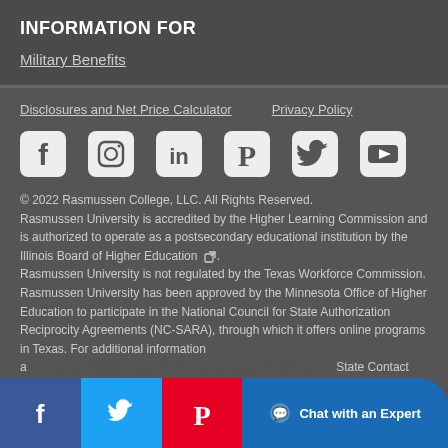INFORMATION FOR
Military Benefits
Disclosures and Net Price Calculator    Privacy Policy
[Figure (infographic): Social media icons: Facebook, Instagram, LinkedIn, Pinterest, Twitter, YouTube]
© 2022 Rasmussen College, LLC. All Rights Reserved. Rasmussen University is accredited by the Higher Learning Commission and is authorized to operate as a postsecondary educational institution by the Illinois Board of Higher Education [external link icon]. Rasmussen University is not regulated by the Texas Workforce Commission. Rasmussen University has been approved by the Minnesota Office of Higher Education to participate in the National Council for State Authorization Reciprocity Agreements (NC-SARA), through which it offers online programs in Texas. For additional information a... State Contact Information fo... catalog [external link icon].
[Figure (infographic): Bottom bar with Facebook, Twitter, Pinterest share buttons and Chat with an Expert button]